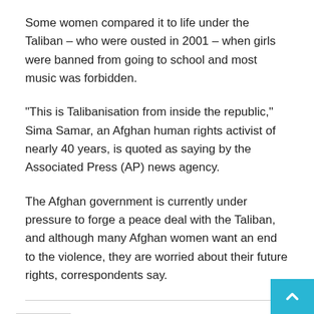Some women compared it to life under the Taliban – who were ousted in 2001 – when girls were banned from going to school and most music was forbidden.
“This is Talibanisation from inside the republic,” Sima Samar, an Afghan human rights activist of nearly 40 years, is quoted as saying by the Associated Press (AP) news agency.
The Afghan government is currently under pressure to forge a peace deal with the Taliban, and although many Afghan women want an end to the violence, they are worried about their future rights, correspondents say.
[Figure (infographic): Social share buttons: a generic share icon button (outlined), Facebook (blue), Twitter (cyan), Pinterest (red), WhatsApp (green), and a back-to-top arrow button in light blue at bottom right.]